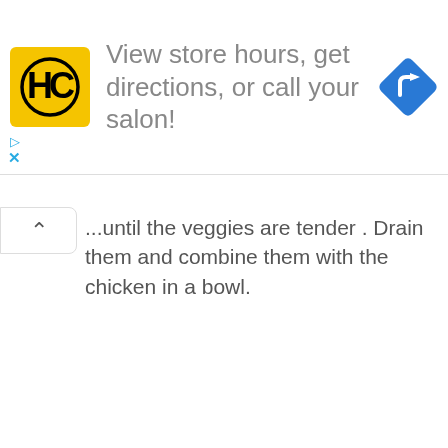[Figure (infographic): Advertisement banner for Hair Club (HC) salon with yellow logo, text reading 'View store hours, get directions, or call your salon!', and a blue diamond navigation icon on the right.]
...until the veggies are tender . Drain them and combine them with the chicken in a bowl.